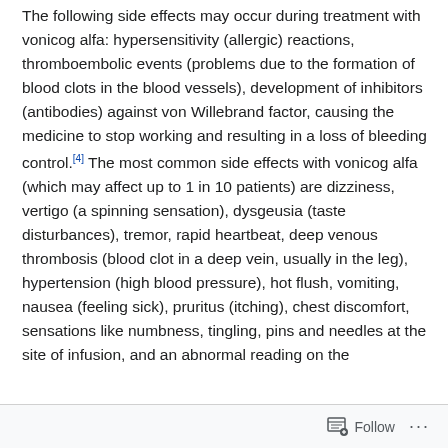The following side effects may occur during treatment with vonicog alfa: hypersensitivity (allergic) reactions, thromboembolic events (problems due to the formation of blood clots in the blood vessels), development of inhibitors (antibodies) against von Willebrand factor, causing the medicine to stop working and resulting in a loss of bleeding control.[4] The most common side effects with vonicog alfa (which may affect up to 1 in 10 patients) are dizziness, vertigo (a spinning sensation), dysgeusia (taste disturbances), tremor, rapid heartbeat, deep venous thrombosis (blood clot in a deep vein, usually in the leg), hypertension (high blood pressure), hot flush, vomiting, nausea (feeling sick), pruritus (itching), chest discomfort, sensations like numbness, tingling, pins and needles at the site of infusion, and an abnormal reading on the
Follow ...